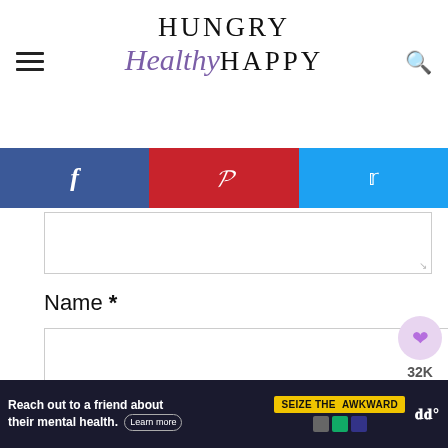Hungry Healthy Happy
[Figure (infographic): Social sharing bar with Facebook (blue), Pinterest (red), Twitter (light blue) icons]
[Figure (screenshot): Comment text area input box with resize handle]
Name *
[Figure (screenshot): Name input field box]
[Figure (infographic): Like/share sidebar: heart icon with 32K count and share icon]
Email *
[Figure (screenshot): Email input field box]
[Figure (infographic): What's Next panel: Slow Cooker Beef Curry]
[Figure (infographic): Ad banner: Reach out to a friend about their mental health. Seize the Awkward.]